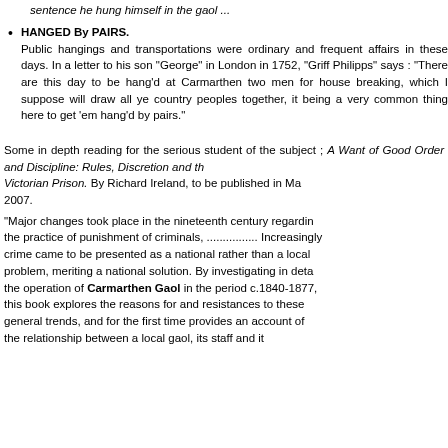sentence he hung himself in the gaol ...
HANGED By PAIRS. Public hangings and transportations were ordinary and frequent affairs in these days. In a letter to his son "George" in London in 1752, "Griff Philipps" says : "There are this day to be hang'd at Carmarthen two men for house breaking, which I suppose will draw all ye country peoples together, it being a very common thing here to get 'em hang'd by pairs."
Some in depth reading for the serious student of the subject ; A Want of Good Order and Discipline: Rules, Discretion and the Victorian Prison. By Richard Ireland, to be published in May 2007.
"Major changes took place in the nineteenth century regarding the practice of punishment of criminals, ................ Increasingly crime came to be presented as a national rather than a local problem, meriting a national solution. By investigating in detail the operation of Carmarthen Gaol in the period c.1840-1877, this book explores the reasons for and resistances to these general trends, and for the first time provides an account of the relationship between a local gaol, its staff and it